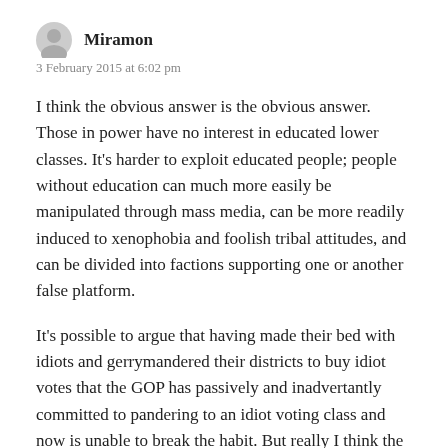Miramon
3 February 2015 at 6:02 pm
I think the obvious answer is the obvious answer. Those in power have no interest in educated lower classes. It’s harder to exploit educated people; people without education can much more easily be manipulated through mass media, can be more readily induced to xenophobia and foolish tribal attitudes, and can be divided into factions supporting one or another false platform.
It’s possible to argue that having made their bed with idiots and gerrymandered their districts to buy idiot votes that the GOP has passively and inadvertantly committed to pandering to an idiot voting class and now is unable to break the habit. But really I think the true answer is even more malicious than that.